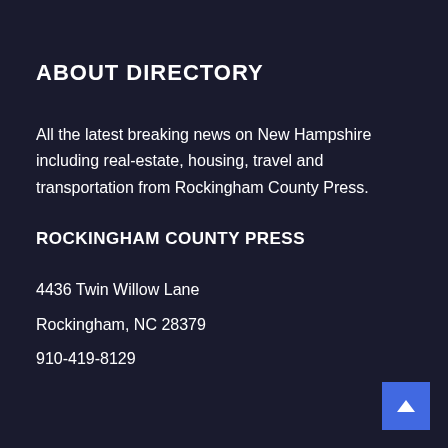ABOUT DIRECTORY
All the latest breaking news on New Hampshire including real-estate, housing, travel and transportation from Rockingham County Press.
ROCKINGHAM COUNTY PRESS
4436 Twin Willow Lane
Rockingham, NC 28379
910-419-8129